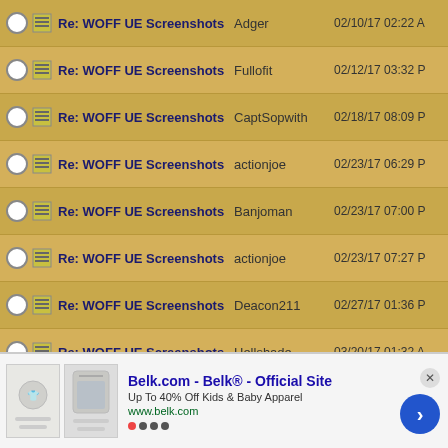|  |  | Subject | Author | Date |
| --- | --- | --- | --- | --- |
| ○ | 🗔 | Re: WOFF UE Screenshots | Adger | 02/10/17 02:22 A |
| ○ | 🗔 | Re: WOFF UE Screenshots | Fullofit | 02/12/17 03:32 P |
| ○ | 🗔 | Re: WOFF UE Screenshots | CaptSopwith | 02/18/17 08:09 P |
| ○ | 🗔 | Re: WOFF UE Screenshots | actionjoe | 02/23/17 06:29 P |
| ○ | 🗔 | Re: WOFF UE Screenshots | Banjoman | 02/23/17 07:00 P |
| ○ | 🗔 | Re: WOFF UE Screenshots | actionjoe | 02/23/17 07:27 P |
| ○ | 🗔 | Re: WOFF UE Screenshots | Deacon211 | 02/27/17 01:36 P |
| ○ | 🗔 | Re: WOFF UE Screenshots | Hellshade | 03/20/17 01:32 A |
| ○ | 🗔 | Re: WOFF UE Screenshots | Hellshade | 03/20/17 04:25 A |
| ○ | 🗔 | Re: WOFF UE Screenshots | carrick58 | 03/20/17 03:54 P |
| ○ | 🗔 | Re: WOFF UE Screenshots | Hellshade | 03/21/17 09:49 P |
| ○ | 🗔 | Re: WOFF UE Screenshots | ArisFuser | 03/21/17 10:01 P |
| ○ | 🗔 | Re: WOFF UE Screenshots | ARUP | 03/30/17 12:51 A |
[Figure (screenshot): Advertisement banner for Belk.com - Belk® Official Site. Up To 40% Off Kids & Baby Apparel. www.belk.com. Shows clothing images and a blue arrow button.]